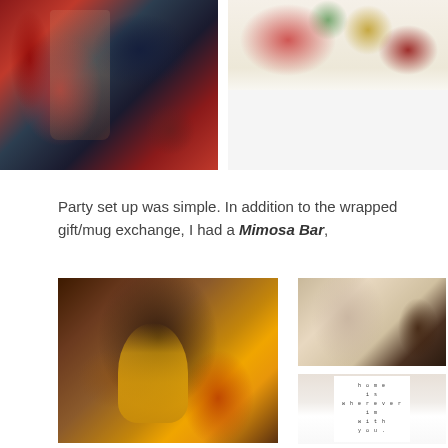[Figure (photo): Person holding a champagne flute, wearing festive red and dark patterned holiday clothing with beaded necklace]
[Figure (photo): Wrapped Christmas gifts and presents on a table with holiday decorations]
Party set up was simple. In addition to the wrapped gift/mug exchange, I had a Mimosa Bar,
[Figure (photo): Person smiling and holding a wine glass with orange juice (mimosa), wearing a plaid scarf, with Christmas decorations in background]
[Figure (photo): Person pouring champagne at a mimosa bar setup with Christmas decorations]
[Figure (photo): White sign reading 'home is wherever I'm with you' in small typewriter-style text]